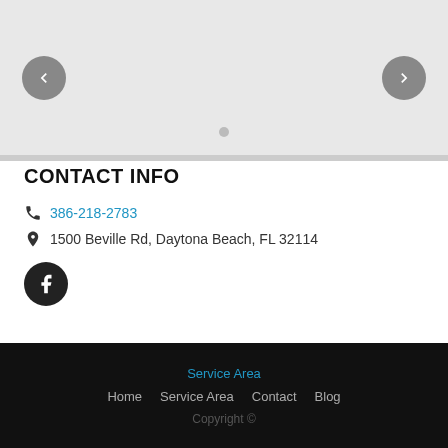[Figure (screenshot): Image slider with grey background, left chevron button, right chevron button, and a dot indicator at bottom center]
CONTACT INFO
386-218-2783
1500 Beville Rd, Daytona Beach, FL 32114
[Figure (logo): Facebook icon button, circular black background with white f logo]
Service Area | Home | Service Area | Contact | Blog | Copyright ©